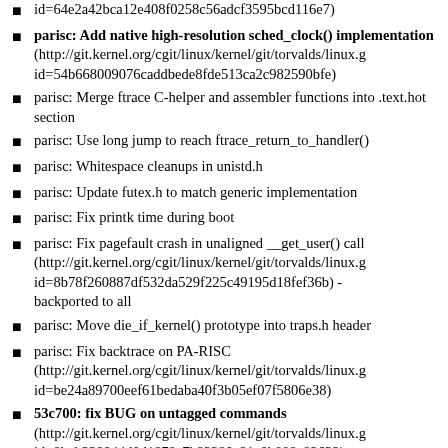id=64e2a42bca12e408f0258c56adcf3595bcd116e7)
parisc: Add native high-resolution sched_clock() implementation (http://git.kernel.org/cgit/linux/kernel/git/torvalds/linux.g id=54b668009076caddbede8fde513ca2c982590bfe)
parisc: Merge ftrace C-helper and assembler functions into .text.hot section
parisc: Use long jump to reach ftrace_return_to_handler()
parisc: Whitespace cleanups in unistd.h
parisc: Update futex.h to match generic implementation
parisc: Fix printk time during boot
parisc: Fix pagefault crash in unaligned __get_user() call (http://git.kernel.org/cgit/linux/kernel/git/torvalds/linux.g id=8b78f260887df532da529f225c49195d18fef36b) - backported to all
parisc: Move die_if_kernel() prototype into traps.h header
parisc: Fix backtrace on PA-RISC (http://git.kernel.org/cgit/linux/kernel/git/torvalds/linux.g id=be24a89700eef61bedaba40f3b05ef07f5806e38)
53c700: fix BUG on untagged commands (http://git.kernel.org/cgit/linux/kernel/git/torvalds/linux.g id=8beb330044d0d1878c7b92290e91c0b889e92633) - fixes SCSI on 712/715 machines with sym7xx driver